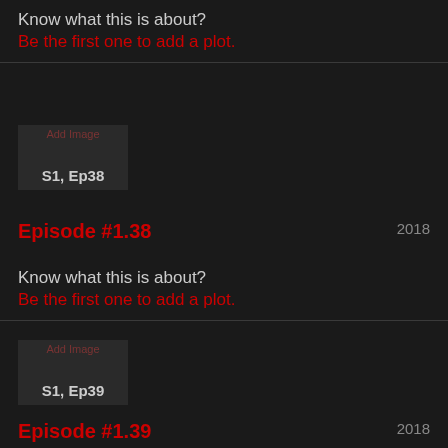Know what this is about?
Be the first one to add a plot.
[Figure (screenshot): Thumbnail placeholder for S1, Ep38 with Add Image label]
Episode #1.38
2018
Know what this is about?
Be the first one to add a plot.
[Figure (screenshot): Thumbnail placeholder for S1, Ep39 with Add Image label]
Episode #1.39
2018